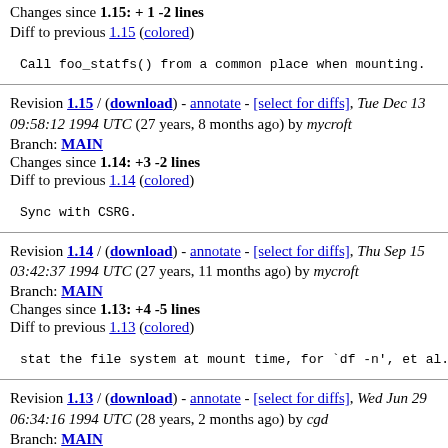Changes since 1.15: + 1 -2 lines
Diff to previous 1.15 (colored)
Call foo_statfs() from a common place when mounting.
Revision 1.15 / (download) - annotate - [select for diffs], Tue Dec 13 09:58:12 1994 UTC (27 years, 8 months ago) by mycroft
Branch: MAIN
Changes since 1.14: +3 -2 lines
Diff to previous 1.14 (colored)
Sync with CSRG.
Revision 1.14 / (download) - annotate - [select for diffs], Thu Sep 15 03:42:37 1994 UTC (27 years, 11 months ago) by mycroft
Branch: MAIN
Changes since 1.13: +4 -5 lines
Diff to previous 1.13 (colored)
stat the file system at mount time, for `df -n', et al.
Revision 1.13 / (download) - annotate - [select for diffs], Wed Jun 29 06:34:16 1994 UTC (28 years, 2 months ago) by cgd
Branch: MAIN
CVS Tags: netbsd-1-0-base